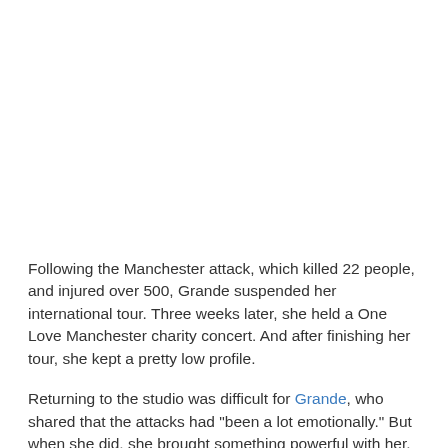Following the Manchester attack, which killed 22 people, and injured over 500, Grande suspended her international tour. Three weeks later, she held a One Love Manchester charity concert. And after finishing her tour, she kept a pretty low profile.
Returning to the studio was difficult for Grande, who shared that the attacks had "been a lot emotionally." But when she did, she brought something powerful with her.